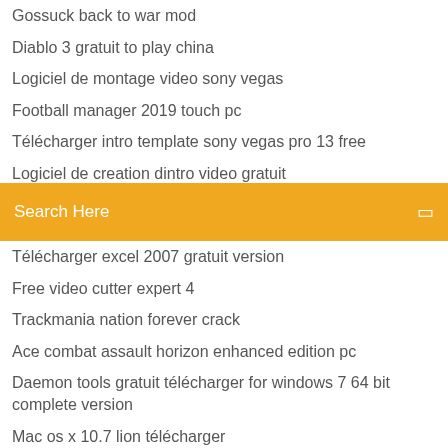Gossuck back to war mod
Diablo 3 gratuit to play china
Logiciel de montage video sony vegas
Football manager 2019 touch pc
Télécharger intro template sony vegas pro 13 free
Logiciel de creation dintro video gratuit
Antivirus bitdefender pour windows 7
Search Here
Télécharger excel 2007 gratuit version
Free video cutter expert 4
Trackmania nation forever crack
Ace combat assault horizon enhanced edition pc
Daemon tools gratuit télécharger for windows 7 64 bit complete version
Mac os x 10.7 lion télécharger
Comment mettre embleme crew sur vetement gta 5
Five nights at freddys 4 halloween edition télécharger
House plans software gratuit télécharger for pc